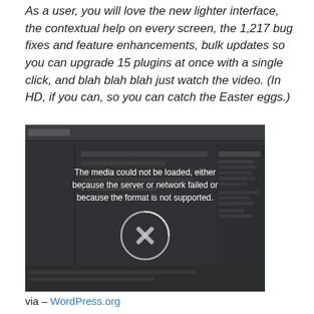As a user, you will love the new lighter interface, the contextual help on every screen, the 1,217 bug fixes and feature enhancements, bulk updates so you can upgrade 15 plugins at once with a single click, and blah blah blah just watch the video. (In HD, if you can, so you can catch the Easter eggs.)
[Figure (screenshot): Embedded video player showing a WordPress admin interface screenshot in the background. The video failed to load with error message: 'The media could not be loaded, either because the server or network failed or because the format is not supported.' A play button icon with an X is visible in the center.]
via – WordPress.org